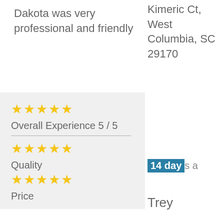Dakota was very professional and friendly
[Figure (other): Rating box with 5-star overall experience (5/5), 5-star quality, 5-star price ratings on grey background]
Near Kimeric Ct, West Columbia, SC 29170
14 days a
Trey